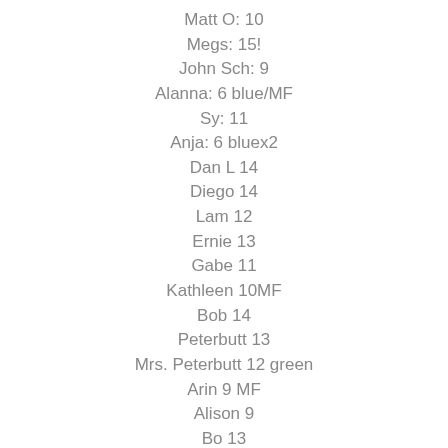Matt O: 10
Megs: 15!
John Sch: 9
Alanna: 6 blue/MF
Sy: 11
Anja: 6 bluex2
Dan L 14
Diego 14
Lam 12
Ernie 13
Gabe 11
Kathleen 10MF
Bob 14
Peterbutt 13
Mrs. Peterbutt 12 green
Arin 9 MF
Alison 9
Bo 13
Ben 10
Kate Kenny 13
Amy 6 green
Luke 7/ 4:54